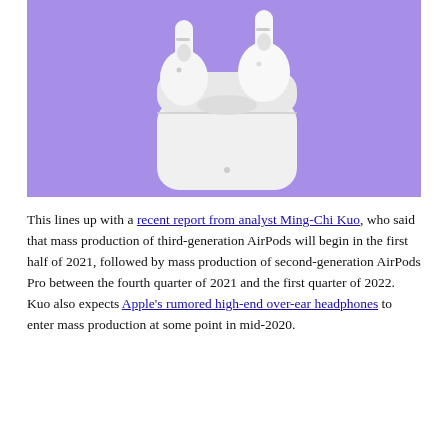[Figure (photo): AirPods Pro earbuds and charging case on a purple background]
This lines up with a recent report from analyst Ming-Chi Kuo, who said that mass production of third-generation AirPods will begin in the first half of 2021, followed by mass production of second-generation AirPods Pro between the fourth quarter of 2021 and the first quarter of 2022. Kuo also expects Apple's rumored high-end over-ear headphones to enter mass production at some point in mid-2020.